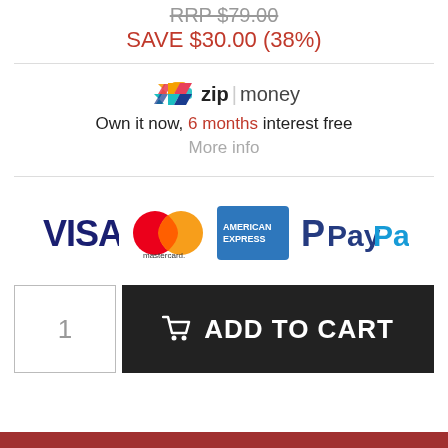RRP $79.00
SAVE $30.00 (38%)
[Figure (logo): Zip Money logo with multicolour icon, 'zip' in bold and 'money' in regular weight, separated by a vertical pipe]
Own it now, 6 months interest free
More info
[Figure (logo): Four payment logos in a row: VISA (dark blue bold), Mastercard (red and orange overlapping circles), American Express (blue rectangle), PayPal (blue P and PayPal wordmark)]
1
ADD TO CART